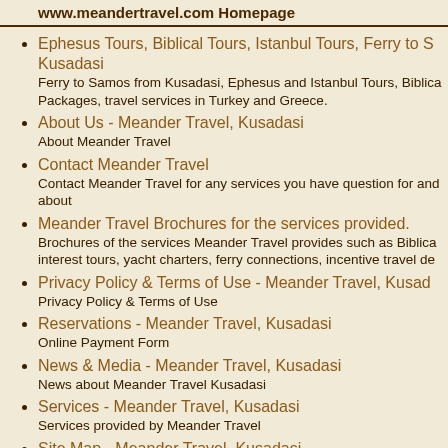www.mеandеrtravel.com Homеpage
Ephesus Tours, Biblical Tours, Istanbul Tours, Ferry to S... Kusadasi
Ferry to Samos from Kusadasi, Ephesus and Istanbul Tours, Biblica... Packages, travel services in Turkey and Greece.
About Us - Meander Travel, Kusadasi
About Meander Travel
Contact Meander Travel
Contact Meander Travel for any services you have question for and about
Meander Travel Brochures for the services provided.
Brochures of the services Meander Travel provides such as Biblica... interest tours, yacht charters, ferry connections, incentive travel de...
Privacy Policy & Terms of Use - Meander Travel, Kusad...
Privacy Policy & Terms of Use
Reservations - Meander Travel, Kusadasi
Online Payment Form
News & Media - Meander Travel, Kusadasi
News about Meander Travel Kusadasi
Services - Meander Travel, Kusadasi
Services provided by Meander Travel
Site Map - Meander Travel, Kusadasi
Site Map of Meander Travel
Register with Us - Meander Travel, Kusadasi
Link Registeration by Meander Travel